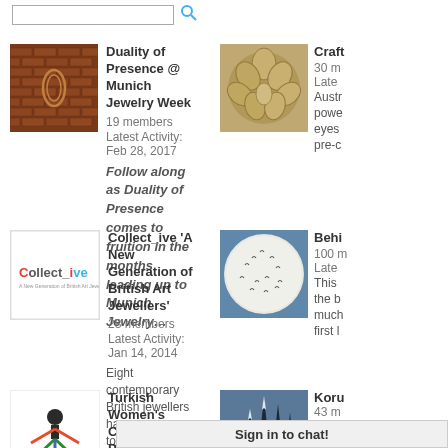Search bar (partial)
Duality of Presence @ Munich Jewelry Week
19 members
Latest Activity: Feb 28, 2017
Follow along as Duality of Presence comes to fruition in the months leading up to Munich Jewelry…
Craft [partial]
30 m[embers]
Latest [Activity:]
Austr[alia]
powe[r]
eyes
pre-c[raft]
Collect_ive 'A New Generation of British Art Jewellers'
28 members
Latest Activity: Jan 14, 2014
Eight contemporary British jewellers have come together to exhibit at the 11th edition of the prestigious SIERAAD International…
Behi[nd...]
100 m[embers]
Latest [Activity:]
This [group]
the b[ehind]
much
first [look]
Turkish Women's Cooperative Project
39 members
Latest Activity: Nov 5, 2012
Koru[...]
43 m[embers]
Sign in to chat!